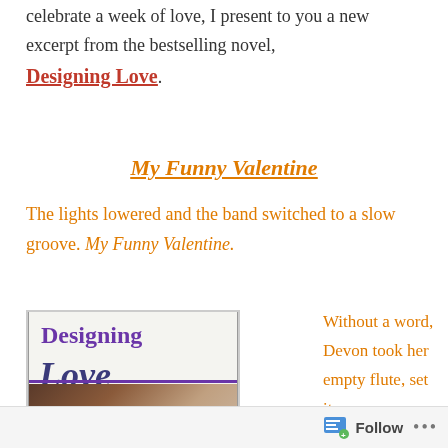celebrate a week of love, I present to you a new excerpt from the bestselling novel, Designing Love.
My Funny Valentine
The lights lowered and the band switched to a slow groove. My Funny Valentine.
[Figure (photo): Book cover of 'Designing Love' showing two people in a romantic close embrace, with the title 'Designing Love' in purple script lettering.]
Without a word, Devon took her empty flute, set it
Follow